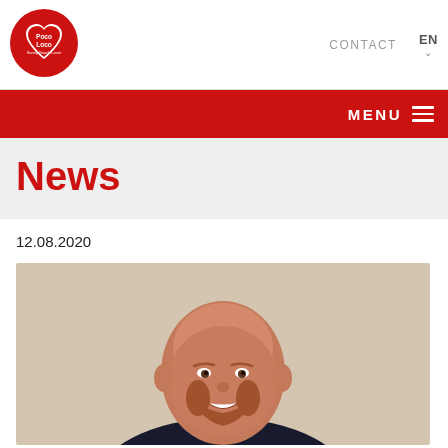[Figure (logo): Poco Loco brand logo - red circular logo with white text]
CONTACT   EN
MENU
News
12.08.2020
[Figure (photo): Portrait photo of a smiling bald man with a reddish beard, wearing a dark jacket, against a beige/cream background]